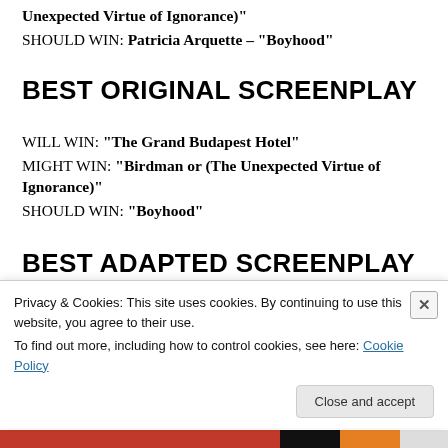Unexpected Virtue of Ignorance)"
SHOULD WIN: Patricia Arquette – "Boyhood"
BEST ORIGINAL SCREENPLAY
WILL WIN: "The Grand Budapest Hotel"
MIGHT WIN: "Birdman or (The Unexpected Virtue of Ignorance)"
SHOULD WIN: "Boyhood"
BEST ADAPTED SCREENPLAY
Privacy & Cookies: This site uses cookies. By continuing to use this website, you agree to their use.
To find out more, including how to control cookies, see here: Cookie Policy